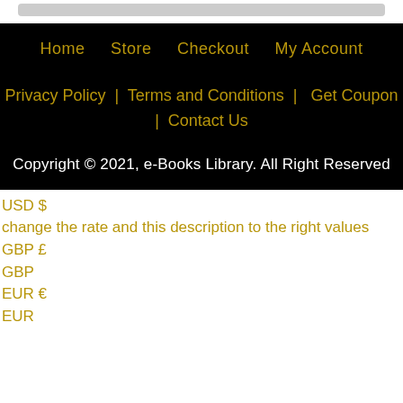Home | Store | Checkout | My Account
Privacy Policy | Terms and Conditions | Get Coupon | Contact Us
Copyright © 2021, e-Books Library. All Right Reserved
USD $
change the rate and this description to the right values
GBP £
GBP
EUR €
EUR